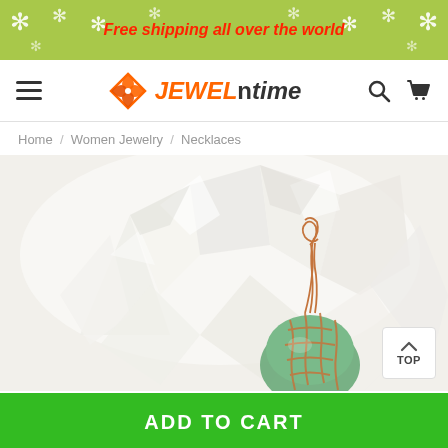Free shipping all over the world
[Figure (logo): JEWELntime store logo with orange geometric flower icon]
Home / Women Jewelry / Necklaces
[Figure (photo): Close-up of a green gemstone wire-wrapped pendant with copper wire on a white crystal cluster background]
ADD TO CART